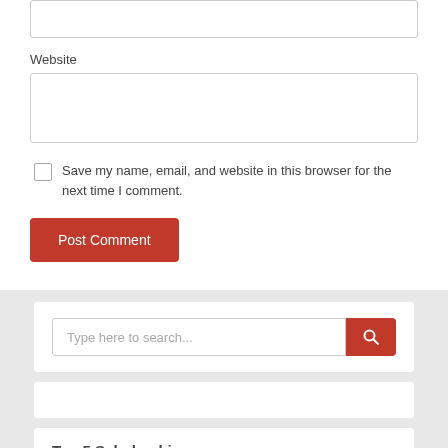Website
Save my name, email, and website in this browser for the next time I comment.
Post Comment
[Figure (screenshot): Search widget with text input 'Type here to search...' and a red search button with magnifying glass icon]
Top 5 Scholarships